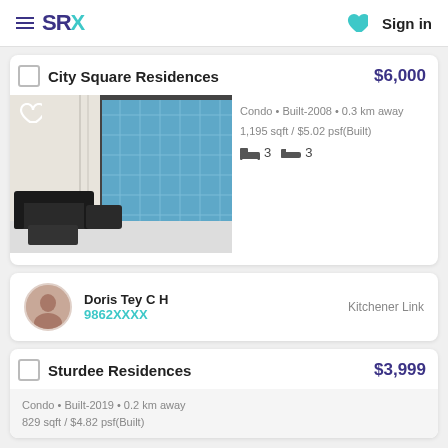SRX | Sign in
City Square Residences $6,000
Condo • Built-2008 • 0.3 km away
1,195 sqft / $5.02 psf(Built)
3 bedrooms  3 bathrooms
Doris Tey C H  9862XXXX  Kitchener Link
Sturdee Residences $3,999
Condo • Built-2019 • 0.2 km away
829 sqft / $4.82 psf(Built)